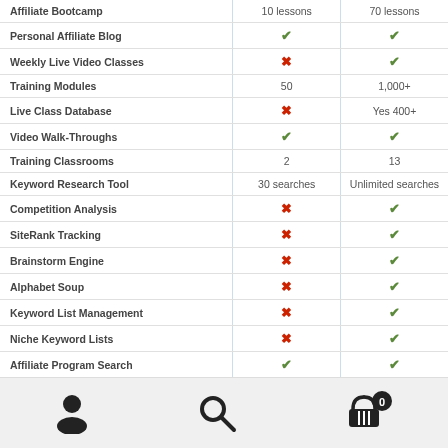| Feature | Starter | Premium |
| --- | --- | --- |
| Affiliate Bootcamp | 10 lessons | 70 lessons |
| Personal Affiliate Blog | ✓ | ✓ |
| Weekly Live Video Classes | ✗ | ✓ |
| Training Modules | 50 | 1,000+ |
| Live Class Database | ✗ | Yes 400+ |
| Video Walk-Throughs | ✓ | ✓ |
| Training Classrooms | 2 | 13 |
| Keyword Research Tool | 30 searches | Unlimited searches |
| Competition Analysis | ✗ | ✓ |
| SiteRank Tracking | ✗ | ✓ |
| Brainstorm Engine | ✗ | ✓ |
| Alphabet Soup | ✗ | ✓ |
| Keyword List Management | ✗ | ✓ |
| Niche Keyword Lists | ✗ | ✓ |
| Affiliate Program Search | ✓ | ✓ |
| Affiliate Program Management | ✗ | ✓ |
| Affiliate Program | 1x commissions | 2x commissions |
| Earn While You Learn | ✓ | ✓ |
| Training Cash Credit Program | ✗ | ✓ |
| SiteComment Cash Program | ✗ | ✓ |
User | Search | Cart (0)